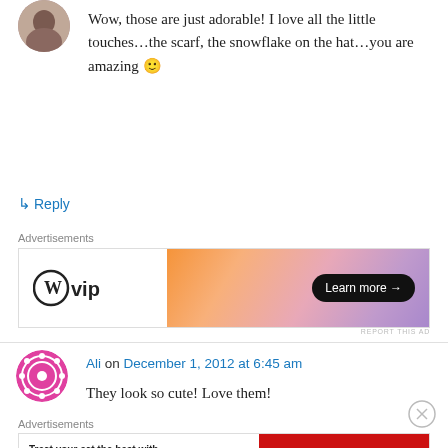[Figure (photo): Small circular avatar photo of a person at top left]
Wow, those are just adorable! I love all the little touches…the scarf, the snowflake on the hat…you are amazing 🙂
↳ Reply
Advertisements
[Figure (other): WordPress VIP advertisement banner with orange-pink gradient and Learn more button]
REPORT THIS AD
[Figure (photo): Ali commenter avatar - pink decorative circular icon]
Ali on December 1, 2012 at 6:45 am
They look so cute! Love them!
Advertisements
[Figure (other): Delectables cat treats ad - Treat your cat the best with Delectables cat treats, available at amazon]